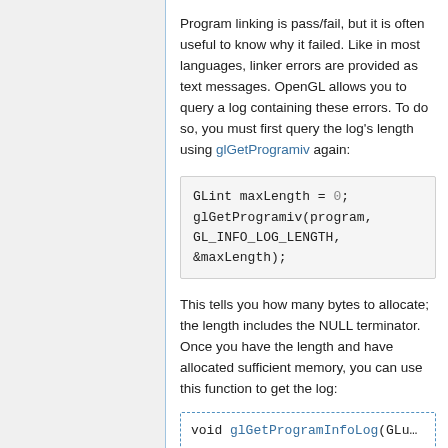Program linking is pass/fail, but it is often useful to know why it failed. Like in most languages, linker errors are provided as text messages. OpenGL allows you to query a log containing these errors. To do so, you must first query the log's length using glGetProgramiv again:
GLint maxLength = 0;
glGetProgramiv(program,
GL_INFO_LOG_LENGTH,
&maxLength);
This tells you how many bytes to allocate; the length includes the NULL terminator. Once you have the length and have allocated sufficient memory, you can use this function to get the log:
void glGetProgramInfoLog(GLu...
maxLength is the size of infoLog; this